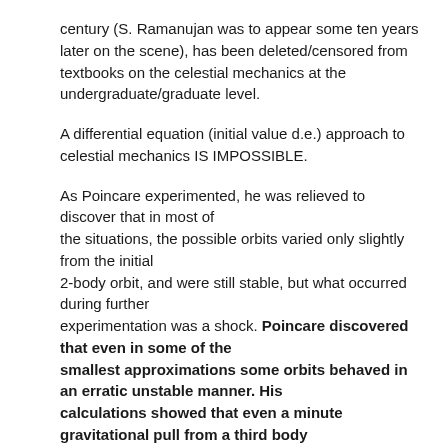century (S. Ramanujan was to appear some ten years later on the scene), has been deleted/censored from textbooks on the celestial mechanics at the undergraduate/graduate level.
A differential equation (initial value d.e.) approach to celestial mechanics IS IMPOSSIBLE.
As Poincare experimented, he was relieved to discover that in most of the situations, the possible orbits varied only slightly from the initial 2-body orbit, and were still stable, but what occurred during further experimentation was a shock. Poincare discovered that even in some of the smallest approximations some orbits behaved in an erratic unstable manner. His calculations showed that even a minute gravitational pull from a third body might cause a planet to wobble and fly out of orbit all together.